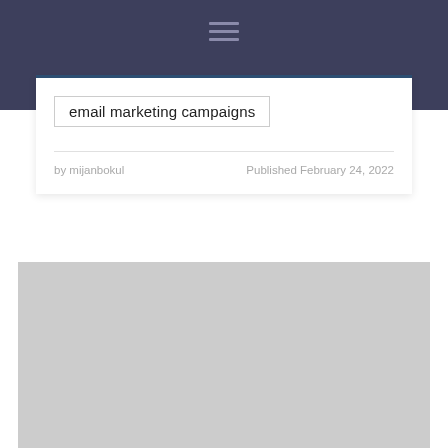email marketing campaigns
by mijanbokul    Published February 24, 2022
[Figure (photo): Large light gray placeholder image block]